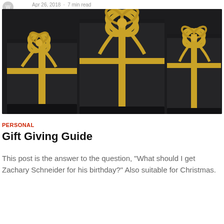Apr 26, 2018 · 7 min read
[Figure (photo): Three black gift boxes with gold/yellow ribbon bows on a dark background, viewed from above at a slight angle]
PERSONAL
Gift Giving Guide
This post is the answer to the question, "What should I get Zachary Schneider for his birthday?" Also suitable for Christmas.